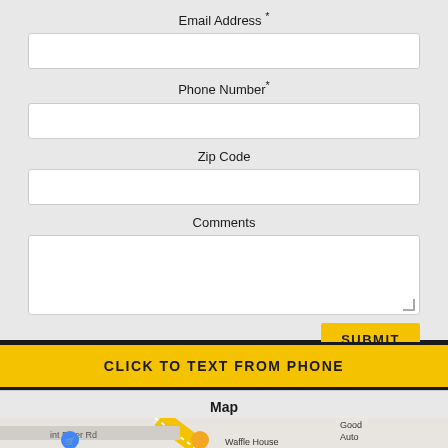Email Address *
Phone Number *
Zip Code
Comments
SUBMIT
CLICK TO TEXT FROM PHONE
Map
[Figure (map): Street map showing Flint River Rd, Waffle House location, and partial view of Good Auto area with road intersections]